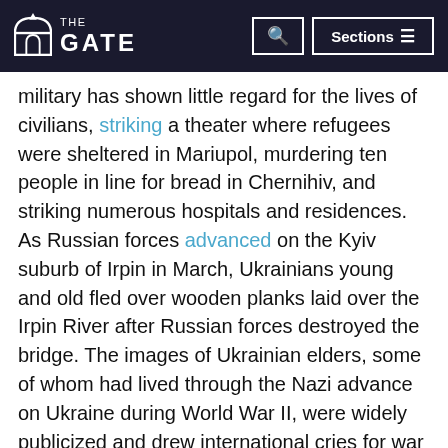THE GATE
military has shown little regard for the lives of civilians, striking a theater where refugees were sheltered in Mariupol, murdering ten people in line for bread in Chernihiv, and striking numerous hospitals and residences. As Russian forces advanced on the Kyiv suburb of Irpin in March, Ukrainians young and old fled over wooden planks laid over the Irpin River after Russian forces destroyed the bridge. The images of Ukrainian elders, some of whom had lived through the Nazi advance on Ukraine during World War II, were widely publicized and drew international cries for war crime prosecutions. Today, there are nearly four million Ukrainian refugees, many of whom fled with few belongings and left family members